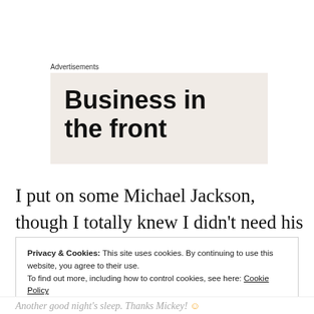Advertisements
[Figure (other): Advertisement banner with large bold text reading 'Business in the front' on a beige/tan background]
I put on some Michael Jackson, though I totally knew I didn't need his beatboxing tones tonight, but I'm going to anyway. ...After
Privacy & Cookies: This site uses cookies. By continuing to use this website, you agree to their use.
To find out more, including how to control cookies, see here: Cookie Policy
Close and accept
Another good night's sleep. Thanks Mickey!